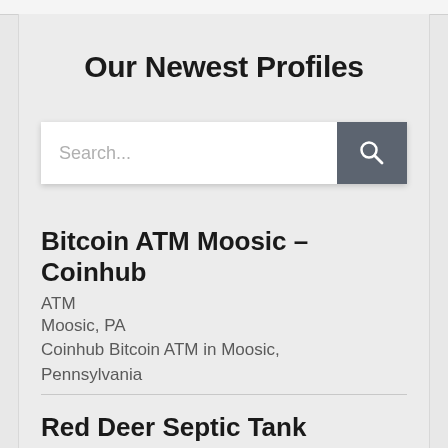Our Newest Profiles
[Figure (screenshot): Search bar with text placeholder 'Search...' and a dark grey search button with magnifying glass icon]
Bitcoin ATM Moosic – Coinhub
ATM
Moosic, PA
Coinhub Bitcoin ATM in Moosic, Pennsylvania
Red Deer Septic Tank